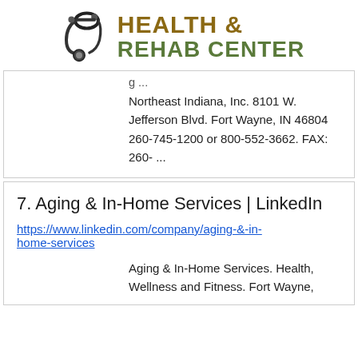[Figure (logo): Stethoscope icon with 'HEALTH & REHAB CENTER' text in olive/green and brown colors]
g ...
Northeast Indiana, Inc. 8101 W. Jefferson Blvd. Fort Wayne, IN 46804 260-745-1200 or 800-552-3662. FAX: 260- ...
7. Aging & In-Home Services | LinkedIn
https://www.linkedin.com/company/aging-&-in-home-services
Aging & In-Home Services. Health, Wellness and Fitness. Fort Wayne,